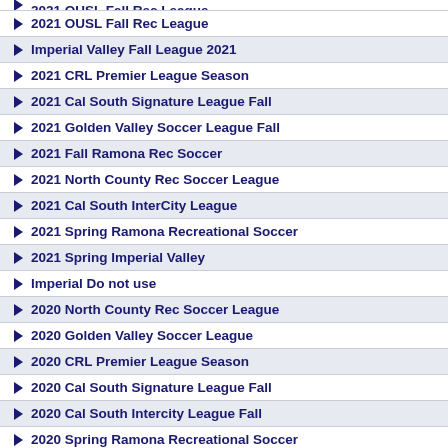2021 OUSL Fall Rec League
2021 OUSL Fall Rec League
Imperial Valley Fall League 2021
2021 CRL Premier League Season
2021 Cal South Signature League Fall
2021 Golden Valley Soccer League Fall
2021 Fall Ramona Rec Soccer
2021 North County Rec Soccer League
2021 Cal South InterCity League
2021 Spring Ramona Recreational Soccer
2021 Spring Imperial Valley
Imperial Do not use
2020 North County Rec Soccer League
2020 Golden Valley Soccer League
2020 CRL Premier League Season
2020 Cal South Signature League Fall
2020 Cal South Intercity League Fall
2020 Spring Ramona Recreational Soccer
2020 GVSL Spring League
2020 LNYSA Spring Season
2020 Spring OYPSL
2019 Golden Valley Soccer League